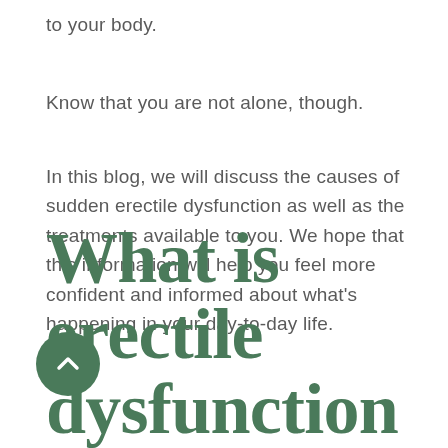to your body.
Know that you are not alone, though.
In this blog, we will discuss the causes of sudden erectile dysfunction as well as the treatments available to you. We hope that this information will help you feel more confident and informed about what’s happening in your day-to-day life.
What is erectile dysfunction